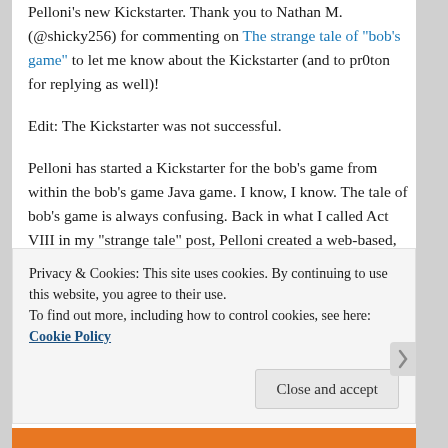Pelloni's new Kickstarter. Thank you to Nathan M. (@shicky256) for commenting on The strange tale of "bob's game" to let me know about the Kickstarter (and to pr0ton for replying as well)!
Edit: The Kickstarter was not successful.
Pelloni has started a Kickstarter for the bob's game from within the bob's game Java game. I know, I know. The tale of bob's game is always confusing. Back in what I called Act VIII in my "strange tale" post, Pelloni created a web-based, Java version of the game. The Java game lost some of the child-like wonder I felt from the original .nds demo, but like that first demo, it also contained a minigame. This was the "bob's game" within bob's game.
Privacy & Cookies: This site uses cookies. By continuing to use this website, you agree to their use.
To find out more, including how to control cookies, see here: Cookie Policy